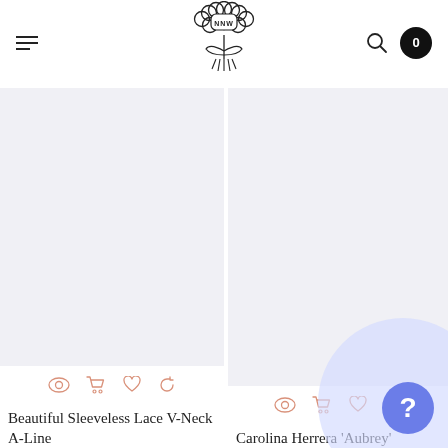NNW brand logo header with hamburger menu, search icon, and cart badge showing 0
[Figure (screenshot): Product listing page with two product cards side by side. Left card: 'Beautiful Sleeveless Lace V-Neck A-Line'. Right card: 'Carolina Herrera Aubrey'. Each card has a light grey product image placeholder, and four action icons below (eye, cart, heart, refresh).]
Beautiful Sleeveless Lace V-Neck A-Line
Carolina Herrera 'Aubrey'